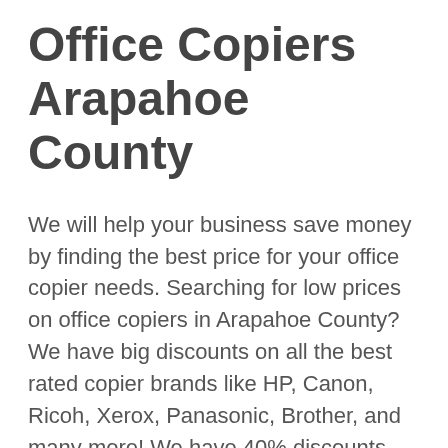Office Copiers Arapahoe County
We will help your business save money by finding the best price for your office copier needs. Searching for low prices on office copiers in Arapahoe County? We have big discounts on all the best rated copier brands like HP, Canon, Ricoh, Xerox, Panasonic, Brother, and many more! We have 40% discounts and low prices on all types of business copiers including Black & White Copiers, Color Copiers, and High-Volume Copiers, and much more! Fill out our quick price form to check out our low prices on our business copiers today! We have thousands of office copiers in stock. We'll also give you office